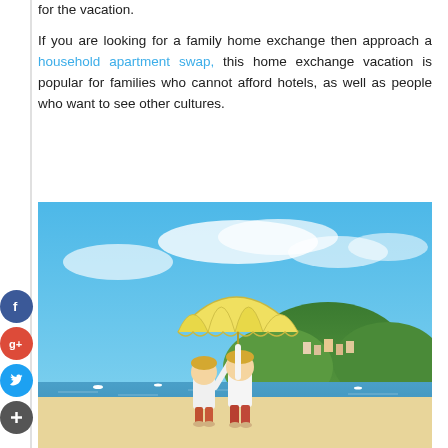for the vacation. If you are looking for a family home exchange then approach a household apartment swap, this home exchange vacation is popular for families who cannot afford hotels, as well as people who want to see other cultures.
[Figure (photo): Two young blonde children in white t-shirts standing on a beach holding up a large yellow umbrella, with a blue sky, white clouds, green hills, and a coastal town in the background.]